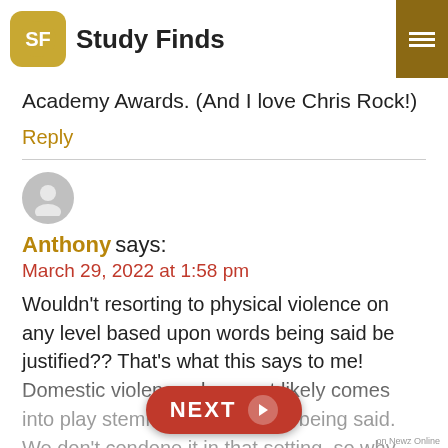Study Finds
Academy Awards. (And I love Chris Rock!)
Reply
Anthony says:
March 29, 2022 at 1:58 pm
Wouldn't resorting to physical violence on any level based upon words being said be justified?? That's what this says to me! Domestic violence also most likely comes into play stemming from words being said. We don't condone it in that setting, so why should we turn a b... mention this isn't a, 'he s... The whole